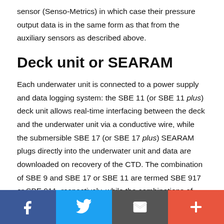sensor (Senso-Metrics) in which case their pressure output data is in the same form as that from the auxiliary sensors as described above.
Deck unit or SEARAM
Each underwater unit is connected to a power supply and data logging system: the SBE 11 (or SBE 11 plus) deck unit allows real-time interfacing between the deck and the underwater unit via a conductive wire, while the submersible SBE 17 (or SBE 17 plus) SEARAM plugs directly into the underwater unit and data are downloaded on recovery of the CTD. The combination of SBE 9 and SBE 17 or SBE 11 are termed SBE 917 or SBE 911, respectively, while the combinations of SBE 9 plus and SBE 17 plus or SBE 11 plus
[Figure (infographic): Social sharing toolbar at bottom with Facebook (blue), Twitter (light blue), Email/envelope (dark grey), and Plus/add (orange-red) buttons]